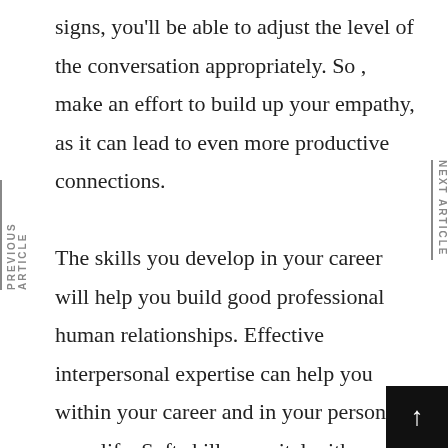signs, you'll be able to adjust the level of the conversation appropriately. So , make an effort to build up your empathy, as it can lead to even more productive connections.

The skills you develop in your career will help you build good professional human relationships. Effective interpersonal expertise can help you within your career and in your personal your life. Soft skills are vital with regards to successful relationship building, and learning these expertise can help you inside your career. The first ste